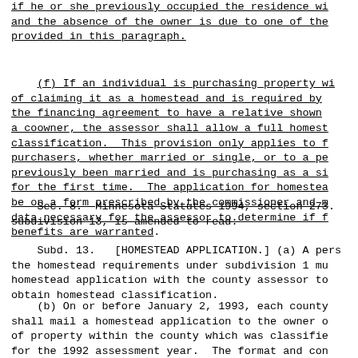if he or she previously occupied the residence wi and the absence of the owner is due to one of the provided in this paragraph.
(f) If an individual is purchasing property wi of claiming it as a homestead and is required by the financing agreement to have a relative shown a coowner, the assessor shall allow a full homest classification. This provision only applies to f purchasers, whether married or single, or to a pe previously been married and is purchasing as a si for the first time. The application for homestea be on a form prescribed by the commissioner and m data necessary for the assessor to determine if f benefits are warranted.
Sec. 8. Minnesota Statutes 1994, section 273. subdivision 13, is amended to read:
Subd. 13. [HOMESTEAD APPLICATION.] (a) A pers the homestead requirements under subdivision 1 mu homestead application with the county assessor to obtain homestead classification.
(b) On or before January 2, 1993, each county shall mail a homestead application to the owner o of property within the county which was classifie for the 1992 assessment year. The format and con uniform homestead application shall be prescribed